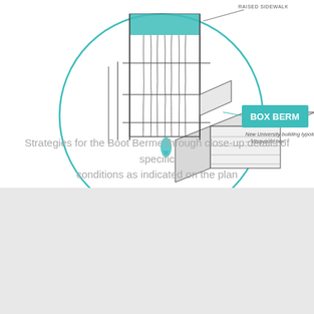[Figure (engineering-diagram): Architectural sketch of a building typology labeled 'Box Berm' with a teal circular callout highlighting a raised sidewalk element. The isometric hand-drawn sketch shows a multi-story building structure with vertical facade elements and a lower box-like base. A teal rectangle label reads 'BOX BERM' with annotation text: 'New University building typology -- disguised box'. A line points to 'RAISED SIDEWALK' at the top.]
Strategies for the Boot Berme through close-up details of specific conditions as indicated on the plan